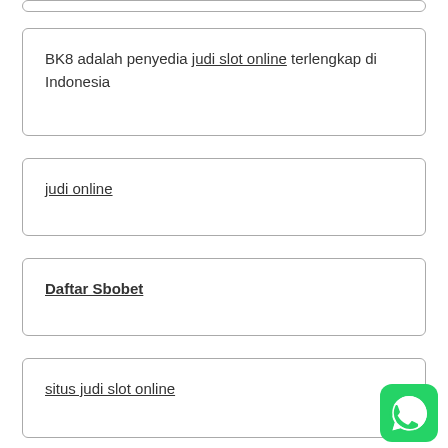BK8 adalah penyedia judi slot online terlengkap di Indonesia
judi online
Daftar Sbobet
situs judi slot online